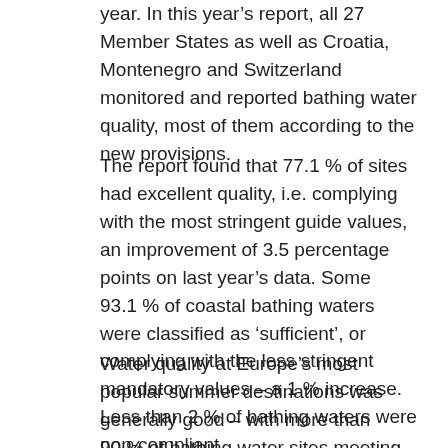year. In this year's report, all 27 Member States as well as Croatia, Montenegro and Switzerland monitored and reported bathing water quality, most of them according to the new provisions.
The report found that 77.1 % of sites had excellent quality, i.e. complying with the most stringent guide values, an improvement of 3.5 percentage points on last year's data. Some 93.1 % of coastal bathing waters were classified as 'sufficient', or complying with the less stringent mandatory values – a 1 % increase. Less than 2 % of bathing waters were non-compliant.
Water quality at Europe's most popular summer destinations was generally good – with more than 90 % of bathing water sites meeting the mandatory values. Spain, Italy and Portugal had more than 80 % of sites with excellent water quality. The water quality of